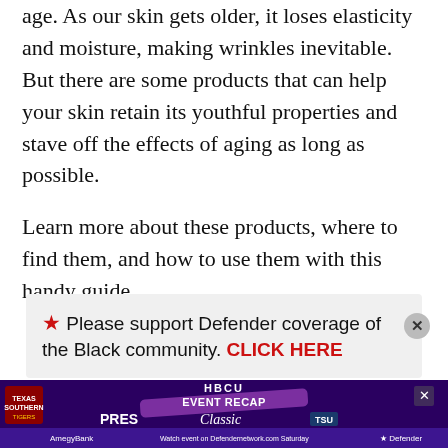age. As our skin gets older, it loses elasticity and moisture, making wrinkles inevitable. But there are some products that can help your skin retain its youthful properties and stave off the effects of aging as long as possible.
Learn more about these products, where to find them, and how to use them with this handy guide.
★ Please support Defender coverage of the Black community. CLICK HERE
[Figure (infographic): Banner advertisement for HBCU Press Classic Event Recap featuring AmegyBank and Defender Network, with purple background.]